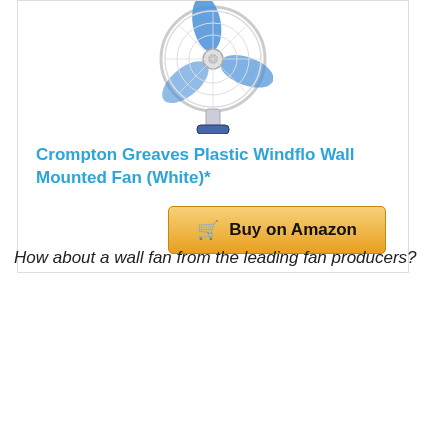[Figure (photo): Wall-mounted fan product image — Crompton Greaves Plastic Windflo Wall Mounted Fan in white and blue, shown from the front, with visible blades, motor hub, and mounting bracket]
Crompton Greaves Plastic Windflo Wall Mounted Fan (White)*
[Figure (other): Buy on Amazon button with shopping cart icon]
How about a wall fan from the leading fan producers?